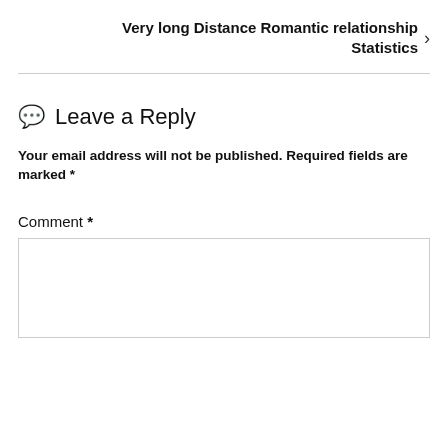Very long Distance Romantic relationship Statistics ›
Leave a Reply
Your email address will not be published. Required fields are marked *
Comment *